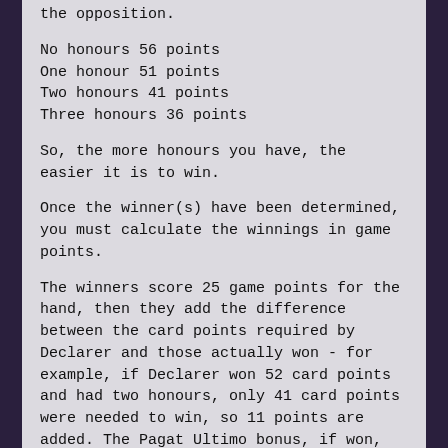the opposition.
No honours 56 points
One honour 51 points
Two honours 41 points
Three honours 36 points
So, the more honours you have, the easier it is to win.
Once the winner(s) have been determined, you must calculate the winnings in game points.
The winners score 25 game points for the hand, then they add the difference between the card points required by Declarer and those actually won - for example, if Declarer won 52 card points and had two honours, only 41 card points were needed to win, so 11 points are added. The Pagat Ultimo bonus, if won, is added to this and the total is multiplied according to the game being played:
Petite x1
Garde x2
Garde without the stock x4